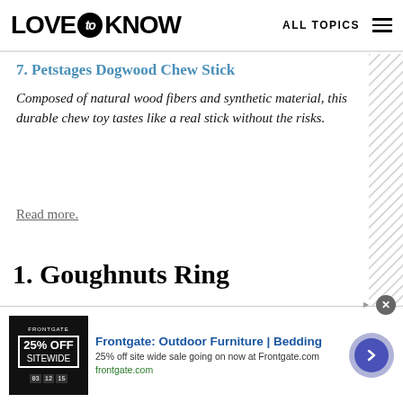LOVE TO KNOW  ALL TOPICS
7. Petstages Dogwood Chew Stick
Composed of natural wood fibers and synthetic material, this durable chew toy tastes like a real stick without the risks.
Read more.
1. Goughnuts Ring
[Figure (photo): Orange Goughnuts Ring chew toy, partially visible at bottom of page]
[Figure (other): Frontgate advertisement banner: Outdoor Furniture | Bedding, 25% off site wide sale going on now at Frontgate.com, frontgate.com]